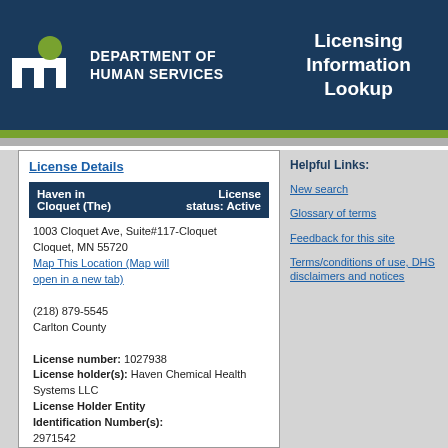Department of Human Services — Licensing Information Lookup
License Details
| Haven in Cloquet (The) | License status: Active |
| --- | --- |
| 1003 Cloquet Ave, Suite#117-Cloquet
Cloquet, MN 55720
Map This Location (Map will open in a new tab)

(218) 879-5545
Carlton County

License number: 1027938
License holder(s): Haven Chemical Health Systems LLC
License Holder Entity Identification Number(s): 2971542
License status: Active |  |
Helpful Links:
New search
Glossary of terms
Feedback for this site
Terms/conditions of use, DHS disclaimers and notices